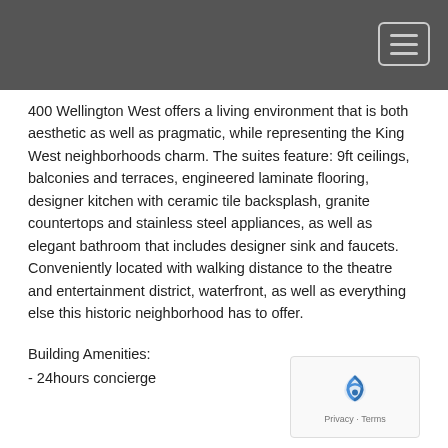400 Wellington West offers a living environment that is both aesthetic as well as pragmatic, while representing the King West neighborhoods charm. The suites feature: 9ft ceilings, balconies and terraces, engineered laminate flooring, designer kitchen with ceramic tile backsplash, granite countertops and stainless steel appliances, as well as elegant bathroom that includes designer sink and faucets. Conveniently located with walking distance to the theatre and entertainment district, waterfront, as well as everything else this historic neighborhood has to offer.
Building Amenities:
- 24hours concierge